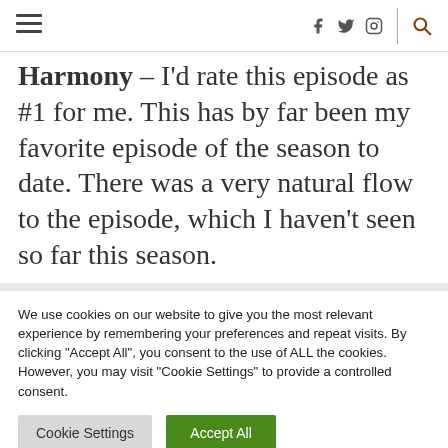≡  f  𝕏  ◎  🔍
Harmony – I'd rate this episode as #1 for me. This has by far been my favorite episode of the season to date. There was a very natural flow to the episode, which I haven't seen so far this season.
We use cookies on our website to give you the most relevant experience by remembering your preferences and repeat visits. By clicking "Accept All", you consent to the use of ALL the cookies. However, you may visit "Cookie Settings" to provide a controlled consent.